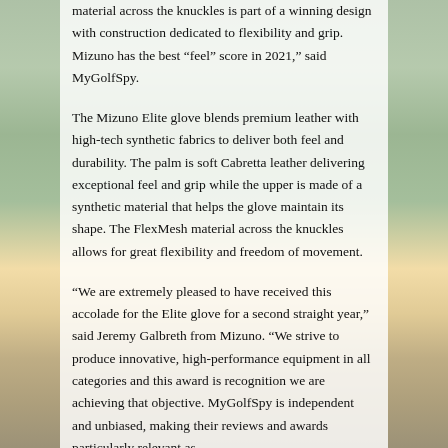material across the knuckles is part of a winning design with construction dedicated to flexibility and grip. Mizuno has the best “feel” score in 2021,” said MyGolfSpy.
The Mizuno Elite glove blends premium leather with high-tech synthetic fabrics to deliver both feel and durability. The palm is soft Cabretta leather delivering exceptional feel and grip while the upper is made of a synthetic material that helps the glove maintain its shape. The FlexMesh material across the knuckles allows for great flexibility and freedom of movement.
“We are extremely pleased to have received this accolade for the Elite glove for a second straight year,” said Jeremy Galbreth from Mizuno. “We strive to produce innovative, high-performance equipment in all categories and this award is recognition we are achieving that objective. MyGolfSpy is independent and unbiased, making their reviews and awards particularly relevant as